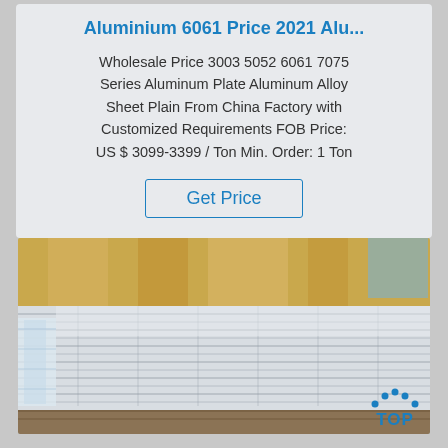Aluminium 6061 Price 2021 Alu...
Wholesale Price 3003 5052 6061 7075 Series Aluminum Plate Aluminum Alloy Sheet Plain From China Factory with Customized Requirements FOB Price: US $ 3099-3399 / Ton Min. Order: 1 Ton
Get Price
[Figure (photo): Stacked aluminum alloy sheets/plates with yellow protective wrapping on top and plastic wrapping on the side, showing the edges of the metal sheets. A TOP badge/logo appears in the bottom right corner.]